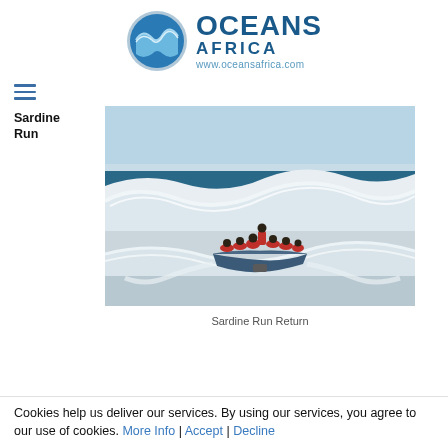[Figure (logo): Oceans Africa logo with wave icon and text OCEANS AFRICA www.oceansafrica.com]
[Figure (other): Hamburger menu icon with three horizontal lines]
Sardine Run
[Figure (photo): Photo of a rigid inflatable boat with people in red life jackets navigating through large ocean waves, viewed from behind]
Sardine Run Return
Cookies help us deliver our services. By using our services, you agree to our use of cookies. More Info | Accept | Decline